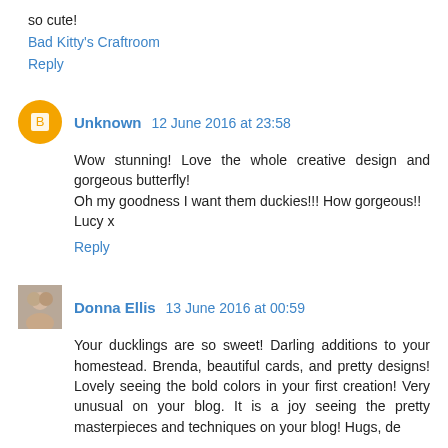so cute!
Bad Kitty's Craftroom
Reply
Unknown  12 June 2016 at 23:58
Wow stunning! Love the whole creative design and gorgeous butterfly!
Oh my goodness I want them duckies!!! How gorgeous!!
Lucy x
Reply
Donna Ellis  13 June 2016 at 00:59
Your ducklings are so sweet! Darling additions to your homestead. Brenda, beautiful cards, and pretty designs! Lovely seeing the bold colors in your first creation! Very unusual on your blog. It is a joy seeing the pretty masterpieces and techniques on your blog! Hugs, de